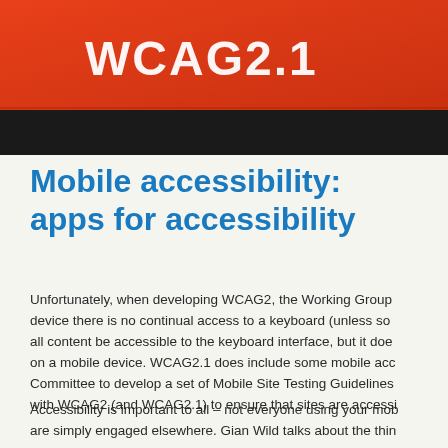[Figure (photo): Banner image with orange/red background showing 'WCAG 2.1' text in white, partially cropped at top of page]
Mobile accessibility: apps for accessibility
Unfortunately, when developing WCAG2, the Working Group device there is no continual access to a keyboard (unless so all content be accessible to the keyboard interface, but it does on a mobile device. WCAG2.1 does include some mobile acco Committee to develop a set of Mobile Site Testing Guidelines with WCAG2 (and WCAG2.1) to ensure that sites are accessi
Accessibility is important to all – not everyone using your mob are simply engaged elsewhere. Gian Wild talks about the thin